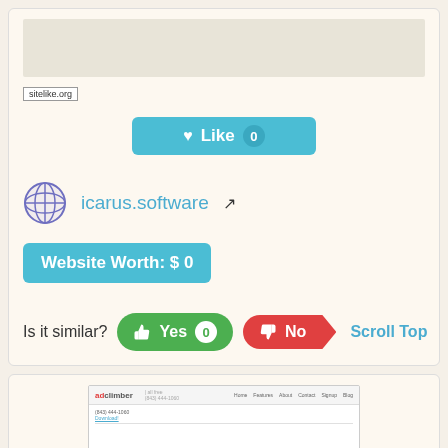[Figure (screenshot): Screenshot placeholder area at top of card]
sitelike.org
[Figure (other): Like button with heart icon, count 0, teal background]
icarus.software
Website Worth: $ 0
Is it similar?
Yes 0
No
Scroll Top
[Figure (screenshot): Screenshot of adclimber website]